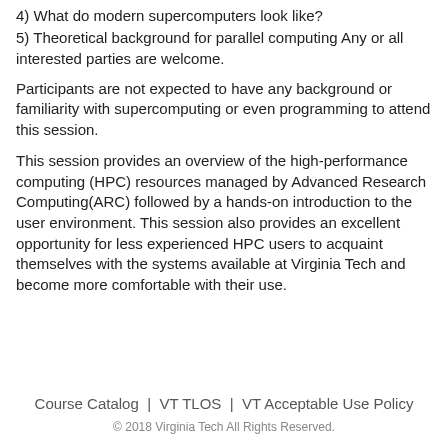4) What do modern supercomputers look like?
5) Theoretical background for parallel computing Any or all interested parties are welcome.
Participants are not expected to have any background or familiarity with supercomputing or even programming to attend this session.
This session provides an overview of the high-performance computing (HPC) resources managed by Advanced Research Computing(ARC) followed by a hands-on introduction to the user environment. This session also provides an excellent opportunity for less experienced HPC users to acquaint themselves with the systems available at Virginia Tech and become more comfortable with their use.
Course Catalog  |  VT TLOS  |  VT Acceptable Use Policy
© 2018 Virginia Tech All Rights Reserved.